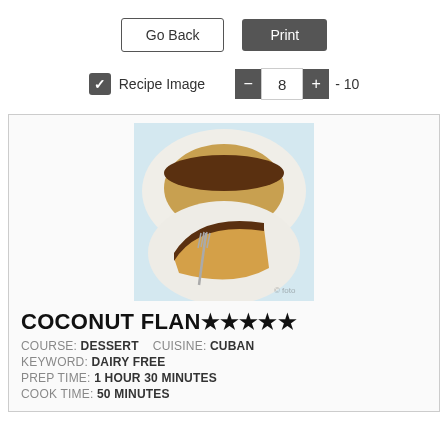[Figure (screenshot): Go Back and Print buttons, Recipe Image checkbox with number stepper showing 8 - 10]
[Figure (photo): Photo of coconut flan dessert on white plates with a fork]
COCONUT FLAN ★★★★★
COURSE: DESSERT    CUISINE: CUBAN
KEYWORD: DAIRY FREE
PREP TIME: 1 HOUR 30 MINUTES
COOK TIME: 50 MINUTES